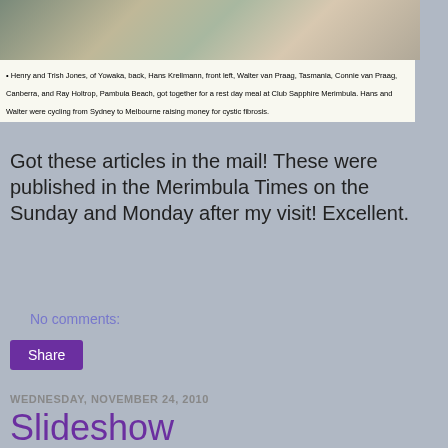[Figure (photo): Newspaper photo strip showing people at a meal, partially cropped at top]
• Henry and Trish Jones, of Yowaka, back, Hans Krellmann, front left, Walter van Praag, Tasmania, Connie van Praag, Canberra, and Ray Holtrop, Pambula Beach, got together for a rest day meal at Club Sapphire Merimbula. Hans and Walter were cycling from Sydney to Melbourne raising money for cystic fibrosis.
Got these articles in the mail! These were published in the Merimbula Times on the Sunday and Monday after my visit! Excellent.
No comments:
Share
WEDNESDAY, NOVEMBER 24, 2010
Slideshow
Couldn't load plugin.